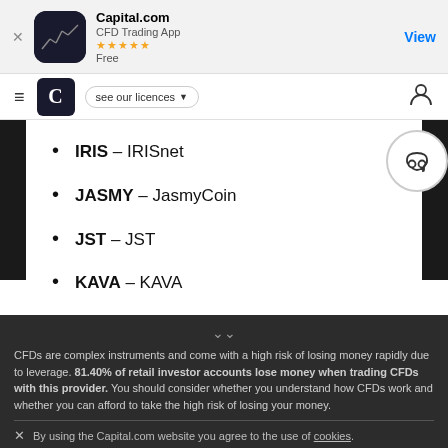[Figure (screenshot): App Store banner for Capital.com CFD Trading App with 5-star rating, free, with View button]
[Figure (screenshot): Website navigation bar with hamburger menu, Capital.com logo (C shield), 'see our licences' dropdown, and user icon]
IRIS – IRISnet
JASMY – JasmyCoin
JST – JST
KAVA – KAVA
CFDs are complex instruments and come with a high risk of losing money rapidly due to leverage. 81.40% of retail investor accounts lose money when trading CFDs with this provider. You should consider whether you understand how CFDs work and whether you can afford to take the high risk of losing your money.
By using the Capital.com website you agree to the use of cookies.